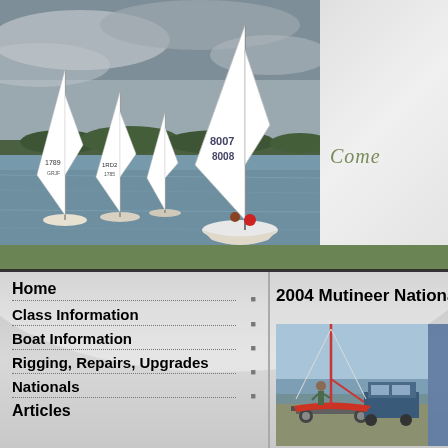[Figure (photo): Sailing race with multiple sailboats on a lake, overcast sky, numbered sails visible including 8007, 8008, 1789]
Come
[Figure (photo): Small sailboat on trailer at waterfront, person standing nearby]
2004 Mutineer Nationa
Home
Class Information
Boat Information
Rigging, Repairs, Upgrades
Nationals
Articles